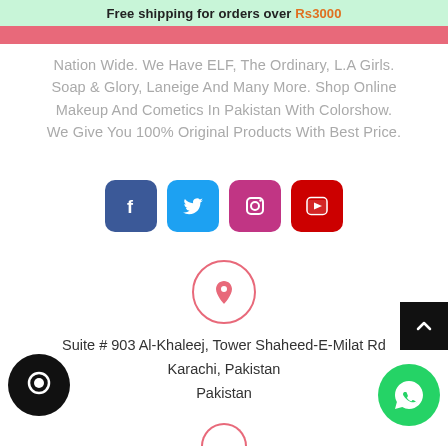Free shipping for orders over Rs3000
Nation Wide. We Have ELF, The Ordinary, L.A Girls. Soap & Glory, Laneige And Many More. Shop Online Makeup And Cometics In Pakistan With Colorshow. We Give You 100% Original Products With Best Price.
[Figure (infographic): Social media icons: Facebook (blue rounded square), Twitter (cyan rounded square), Instagram (pink/magenta rounded square), YouTube (red rounded square)]
[Figure (infographic): Location pin icon in a pink-bordered circle]
Suite # 903 Al-Khaleej, Tower Shaheed-E-Milat Rd Karachi, Pakistan
Pakistan
[Figure (infographic): Scroll-to-top button (dark background with up arrow), chat bubble icon (dark circle), WhatsApp button (green circle with WhatsApp icon), partial bottom pink-border circle]